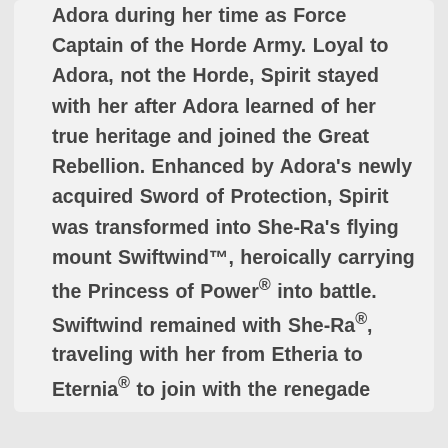Adora during her time as Force Captain of the Horde Army. Loyal to Adora, not the Horde, Spirit stayed with her after Adora learned of her true heritage and joined the Great Rebellion. Enhanced by Adora's newly acquired Sword of Protection, Spirit was transformed into She-Ra's flying mount Swiftwind™, heroically carrying the Princess of Power® into battle. Swiftwind remained with She-Ra®, traveling with her from Etheria to Eternia® to join with the renegade Masters of the Universe® in the continued fight against Hordak® and his armies.